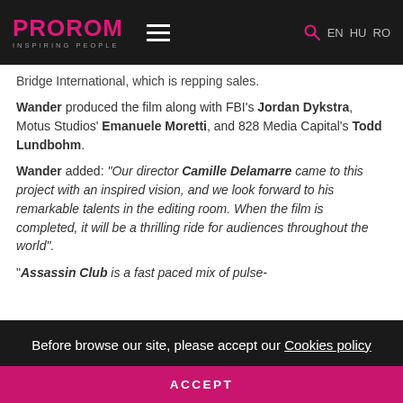PROROM INSPIRING PEOPLE | EN HU RO
Bridge International, which is repping sales.
Wander produced the film along with FBI's Jordan Dykstra, Motus Studios' Emanuele Moretti, and 828 Media Capital's Todd Lundbohm.
Wander added: “Our director Camille Delamarre came to this project with an inspired vision, and we look forward to his remarkable talents in the editing room. When the film is completed, it will be a thrilling ride for audiences throughout the world”.
“Assassin Club is a fast paced mix of pulse-
Before browse our site, please accept our Cookies policy
ACCEPT